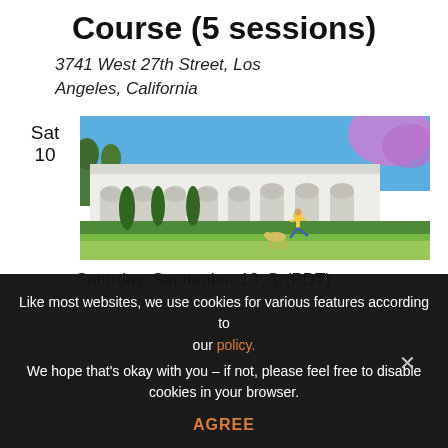Course (5 sessions)
3741 West 27th Street, Los Angeles, California
Sat
10
[Figure (photo): A large white Spanish-style mansion with arched porticos on a sunny day. A person in a yellow shirt and blue pants practices yoga on the front lawn, and a dog bends down nearby. There are tall green hedges, palm trees, and a purple-flowering jacaranda tree in the background under a bright blue sky.]
Saturday, September 10 @ (PDT)
Like most websites, we use cookies for various features according to our policy.
We hope that's okay with you – if not, please feel free to disable cookies in your browser.
AGREE